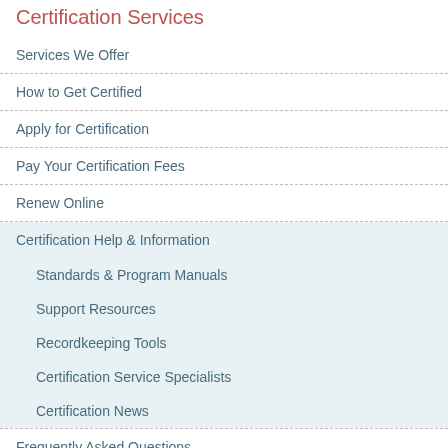Certification Services
Services We Offer
How to Get Certified
Apply for Certification
Pay Your Certification Fees
Renew Online
Certification Help & Information
Standards & Program Manuals
Support Resources
Recordkeeping Tools
Certification Service Specialists
Certification News
Frequently Asked Questions
Forms & Documents
Labeling and Logos